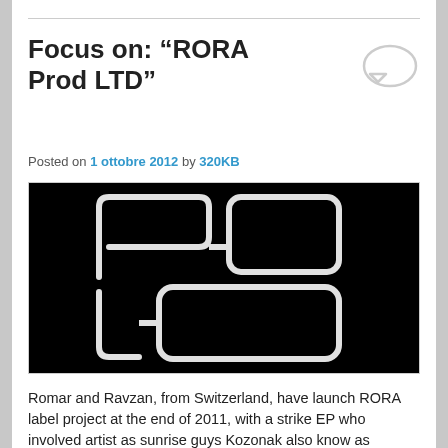Focus on: “RORA Prod LTD”
Posted on 1 ottobre 2012 by 320KB
[Figure (logo): RORA Prod LTD logo — white outlined geometric shapes forming a stylized 'R' and 'A' monogram on a black background]
Romar and Ravzan, from Switzerland, have launch RORA label project at the end of 2011, with a strike EP who involved artist as sunrise guys Kozonak also know as